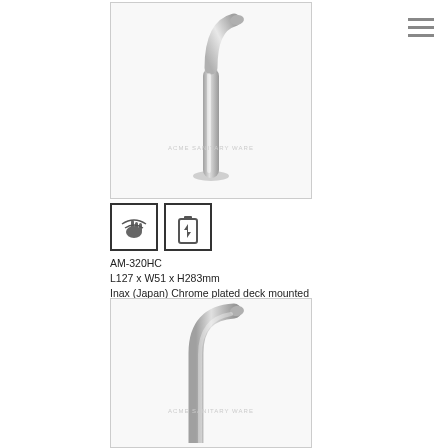[Figure (photo): Chrome sensor faucet with tall curved spout, deck mounted, top product photo with watermark 'ACME SANITARY WARE']
[Figure (infographic): Two icons: sensor/touchless faucet icon and battery/DC power icon in square boxes]
AM-320HC
L127 x W51 x H283mm
Inax (Japan) Chrome plated deck mounted Infra-red extended sensor faucet; DC Supply with 4x AA size alkaline cell battery
[Figure (photo): Chrome sensor faucet with curved spout, partial bottom product photo with watermark 'ACME SANITARY WARE']